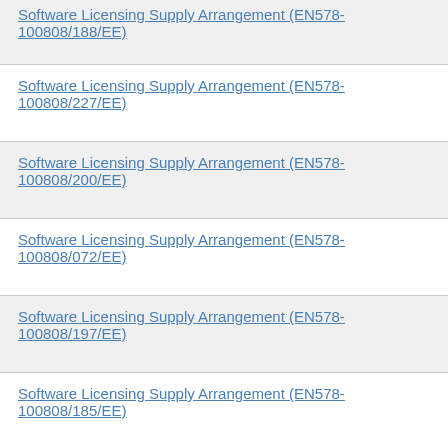Software Licensing Supply Arrangement (EN578-100808/188/EE)
Software Licensing Supply Arrangement (EN578-100808/227/EE)
Software Licensing Supply Arrangement (EN578-100808/200/EE)
Software Licensing Supply Arrangement (EN578-100808/072/EE)
Software Licensing Supply Arrangement (EN578-100808/197/EE)
Software Licensing Supply Arrangement (EN578-100808/185/EE)
Software Licensing Supply Arrangement (EN578-100808/219/EE)
Software Licensing Supply Arrangement (EN578-100808/232/EE)
Software Licensing Supply Arrangement (EN578-100808/161/EE)
Software Licensing Supply Arrangement (EN578-100808/060/EE)